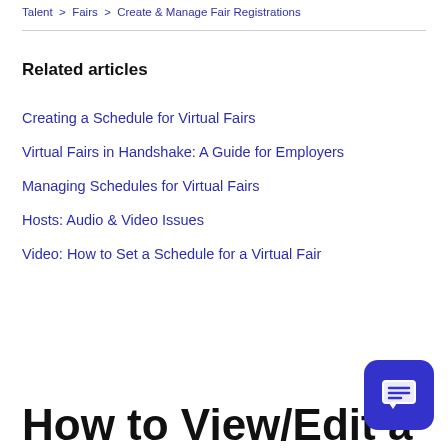Talent > Fairs > Create & Manage Fair Registrations
Related articles
Creating a Schedule for Virtual Fairs
Virtual Fairs in Handshake: A Guide for Employers
Managing Schedules for Virtual Fairs
Hosts: Audio & Video Issues
Video: How to Set a Schedule for a Virtual Fair
How to View/Edit a